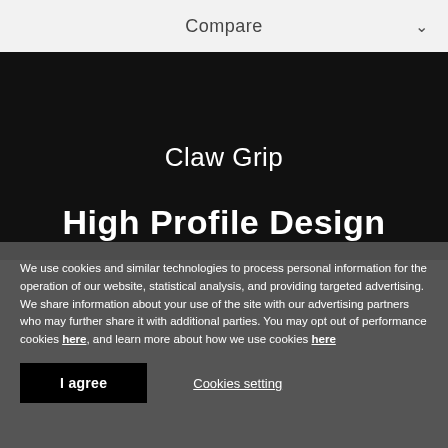Compare
Claw Grip
High Profile Design
We use cookies and similar technologies to process personal information for the operation of our website, statistical analysis, and providing targeted advertising. We share information about your use of the site with our advertising partners who may further share it with additional parties. You may opt out of performance cookies here, and learn more about how we use cookies here
I agree
Cookies setting